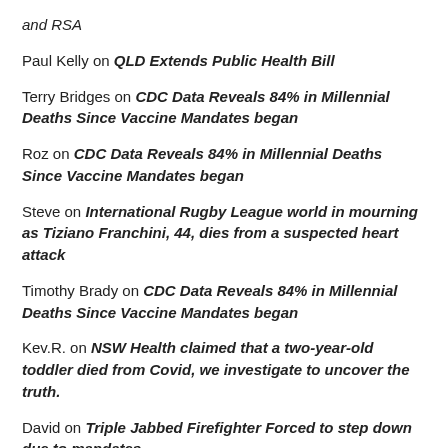and RSA
Paul Kelly on QLD Extends Public Health Bill
Terry Bridges on CDC Data Reveals 84% in Millennial Deaths Since Vaccine Mandates began
Roz on CDC Data Reveals 84% in Millennial Deaths Since Vaccine Mandates began
Steve on International Rugby League world in mourning as Tiziano Franchini, 44, dies from a suspected heart attack
Timothy Brady on CDC Data Reveals 84% in Millennial Deaths Since Vaccine Mandates began
Kev.R. on NSW Health claimed that a two-year-old toddler died from Covid, we investigate to uncover the truth.
David on Triple Jabbed Firefighter Forced to step down due to mandates
Karlo on CDC Data Reveals 84% in Millennial Deaths Since Vaccine Mandates began